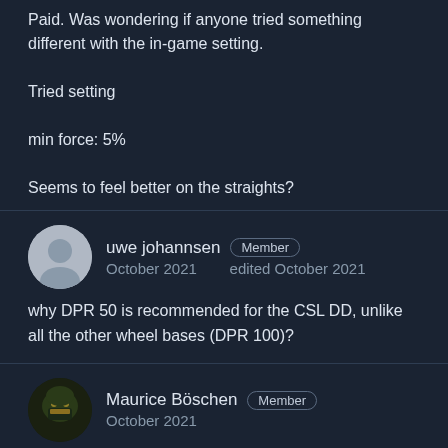Paid. Was wondering if anyone tried something different with the in-game setting.

Tried setting

min force: 5%

Seems to feel better on the straights?
uwe johannsen  Member
October 2021    edited October 2021
why DPR 50 is recommended for the CSL DD, unlike all the other wheel bases (DPR 100)?
Maurice Böschen  Member
October 2021
uwe johannsen  Oct 30, 2021